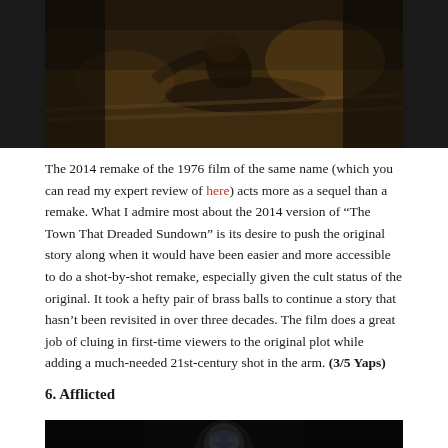[Figure (photo): Dark scene showing a person on the ground outdoors, appears to be a still from a horror film]
The 2014 remake of the 1976 film of the same name (which you can read my expert review of here) acts more as a sequel than a remake. What I admire most about the 2014 version of “The Town That Dreaded Sundown” is its desire to push the original story along when it would have been easier and more accessible to do a shot-by-shot remake, especially given the cult status of the original. It took a hefty pair of brass balls to continue a story that hasn’t been revisited in over three decades. The film does a great job of cluing in first-time viewers to the original plot while adding a much-needed 21st-century shot in the arm. (3/5 Yaps)
6. Afflicted
[Figure (photo): Dark image showing a face partially illuminated, from a horror film called Afflicted]